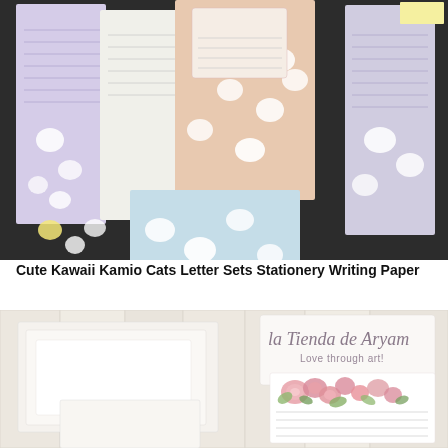[Figure (photo): Photo of multiple kawaii cat-themed stationery letter sets spread out, including pastel colored writing paper sheets with cute cat illustrations in pink/peach, yellow-green, light blue, and lavender/purple colors on a dark background]
Cute Kawaii Kamio Cats Letter Sets Stationery Writing Paper
[Figure (photo): Photo showing white wooden plank background with white stationery/letter paper items on the left side, and on the right a card/logo reading 'la Tienda de Aryam - Love through art!' with a watercolor floral design of pink roses and green leaves, below which is a lined writing paper]